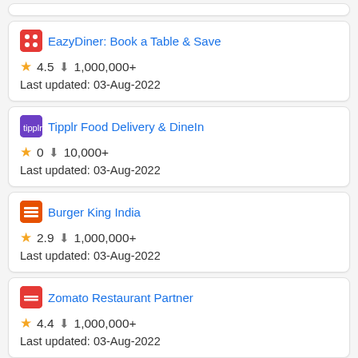EazyDiner: Book a Table & Save — 4.5 ★, 1,000,000+ downloads, Last updated: 03-Aug-2022
Tipplr Food Delivery & DineIn — 0 ★, 10,000+ downloads, Last updated: 03-Aug-2022
Burger King India — 2.9 ★, 1,000,000+ downloads, Last updated: 03-Aug-2022
Zomato Restaurant Partner — 4.4 ★, 1,000,000+ downloads, Last updated: 03-Aug-2022